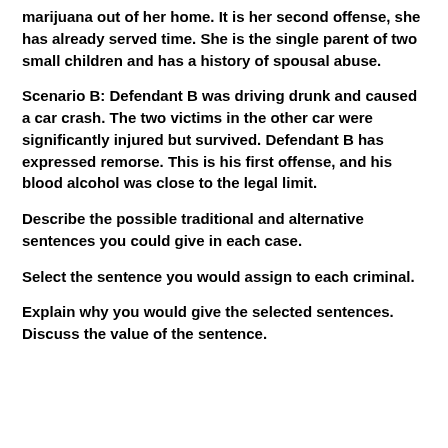marijuana out of her home. It is her second offense, she has already served time. She is the single parent of two small children and has a history of spousal abuse.
Scenario B: Defendant B was driving drunk and caused a car crash. The two victims in the other car were significantly injured but survived. Defendant B has expressed remorse. This is his first offense, and his blood alcohol was close to the legal limit.
Describe the possible traditional and alternative sentences you could give in each case.
Select the sentence you would assign to each criminal.
Explain why you would give the selected sentences. Discuss the value of the sentence.